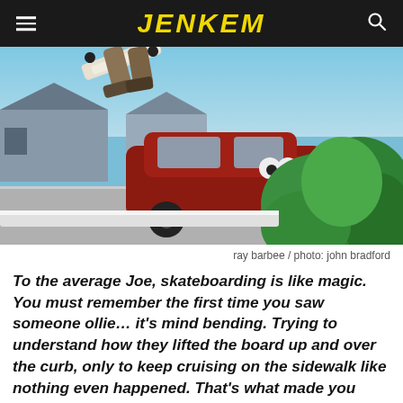JENKEM
[Figure (photo): Skateboarder performing an ollie over a curb with a red car and lush green plants in the background, suburban street setting, blue sky]
ray barbee / photo: john bradford
To the average Joe, skateboarding is like magic. You must remember the first time you saw someone ollie… it's mind bending. Trying to understand how they lifted the board up and over the curb, only to keep cruising on the sidewalk like nothing even happened. That's what made you wanna skate – you wanted to be the magician. There is one trick that even to skateboarders